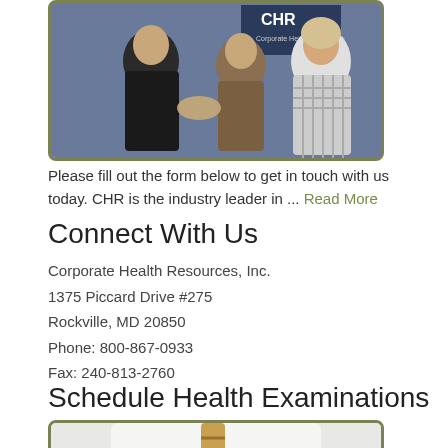[Figure (photo): Two people shaking hands at a CHR event, with a woman in a plaid jacket smiling]
Please fill out the form below to get in touch with us today. CHR is the industry leader in ... Read More
Connect With Us
Corporate Health Resources, Inc.
1375 Piccard Drive #275
Rockville, MD 20850
Phone: 800-867-0933
Fax: 240-813-2760
Schedule Health Examinations
[Figure (photo): Doctor in white coat holding a stethoscope to a globe of the Earth]